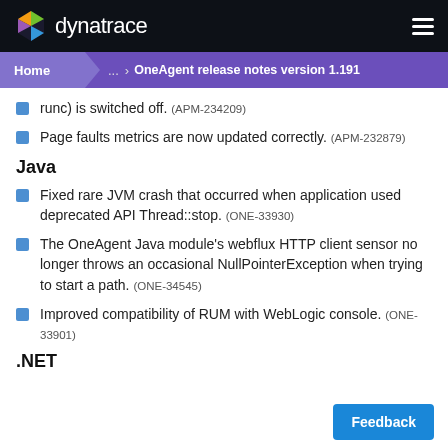dynatrace
Home > ... > OneAgent release notes version 1.191
runc) is switched off. (APM-234209)
Page faults metrics are now updated correctly. (APM-232879)
Java
Fixed rare JVM crash that occurred when application used deprecated API Thread::stop. (ONE-33930)
The OneAgent Java module's webflux HTTP client sensor no longer throws an occasional NullPointerException when trying to start a path. (ONE-34545)
Improved compatibility of RUM with WebLogic console. (ONE-33901)
.NET